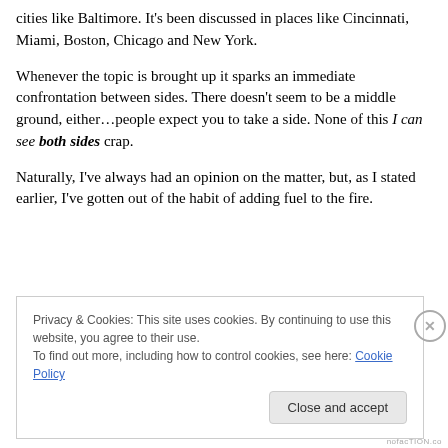cities like Baltimore. It's been discussed in places like Cincinnati, Miami, Boston, Chicago and New York.
Whenever the topic is brought up it sparks an immediate confrontation between sides. There doesn't seem to be a middle ground, either…people expect you to take a side. None of this I can see both sides crap.
Naturally, I've always had an opinion on the matter, but, as I stated earlier, I've gotten out of the habit of adding fuel to the fire.
Privacy & Cookies: This site uses cookies. By continuing to use this website, you agree to their use. To find out more, including how to control cookies, see here: Cookie Policy
Close and accept